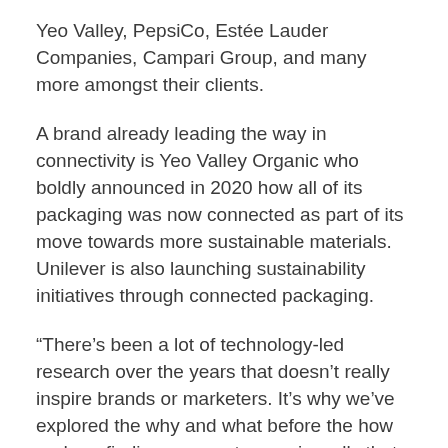Yeo Valley, PepsiCo, Estée Lauder Companies, Campari Group, and many more amongst their clients.
A brand already leading the way in connectivity is Yeo Valley Organic who boldly announced in 2020 how all of its packaging was now connected as part of its move towards more sustainable materials. Unilever is also launching sustainability initiatives through connected packaging.
“There’s been a lot of technology-led research over the years that doesn’t really inspire brands or marketers. It’s why we’ve explored the why and what before the how and our findings support unequivocally that an experience-led approach needs to be taken to succeed with connected